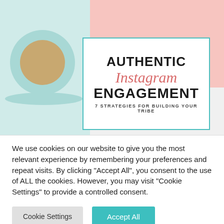[Figure (illustration): Book cover or promotional graphic for 'Authentic Instagram Engagement: 7 Strategies for Building Your Tribe', overlaid on a lifestyle photo of a tea cup and pink flowers]
We use cookies on our website to give you the most relevant experience by remembering your preferences and repeat visits. By clicking "Accept All", you consent to the use of ALL the cookies. However, you may visit "Cookie Settings" to provide a controlled consent.